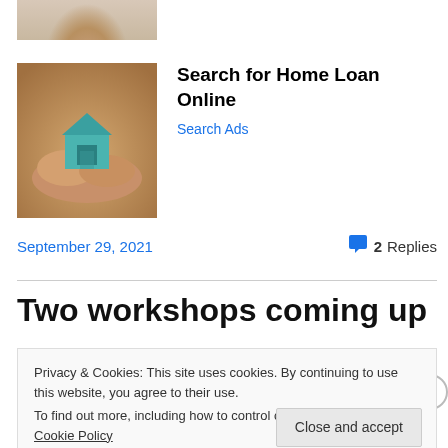[Figure (photo): Cropped photo of a woman, partially visible at top of page]
[Figure (photo): Photo of hands holding a small turquoise house model - home loan advertisement]
Search for Home Loan Online
Search Ads
September 29, 2021
2 Replies
Two workshops coming up
Privacy & Cookies: This site uses cookies. By continuing to use this website, you agree to their use.
To find out more, including how to control cookies, see here: Cookie Policy
Close and accept